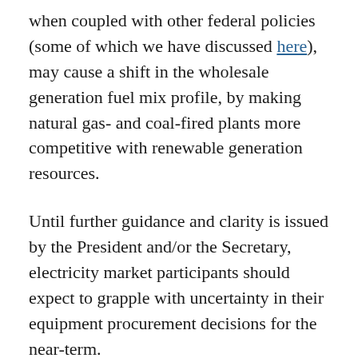when coupled with other federal policies (some of which we have discussed here), may cause a shift in the wholesale generation fuel mix profile, by making natural gas- and coal-fired plants more competitive with renewable generation resources.
Until further guidance and clarity is issued by the President and/or the Secretary, electricity market participants should expect to grapple with uncertainty in their equipment procurement decisions for the near-term.
FOOTNOTES